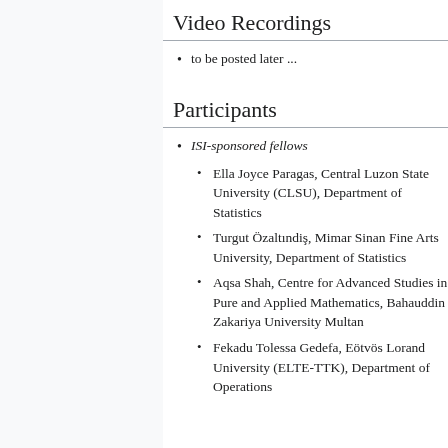Video Recordings
to be posted later ...
Participants
ISI-sponsored fellows
Ella Joyce Paragas, Central Luzon State University (CLSU), Department of Statistics
Turgut Özaltındiş, Mimar Sinan Fine Arts University, Department of Statistics
Aqsa Shah, Centre for Advanced Studies in Pure and Applied Mathematics, Bahauddin Zakariya University Multan
Fekadu Tolessa Gedefa, Eötvös Lorand University (ELTE-TTK), Department of Operations